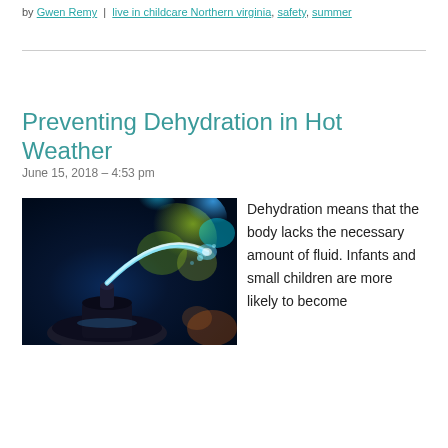by Gwen Remy | live in childcare Northern virginia, safety, summer
Preventing Dehydration in Hot Weather
June 15, 2018 – 4:53 pm
[Figure (photo): Close-up photo of water arcing from a drinking fountain spout, with a dark metal bowl and blurred green and blue bokeh background]
Dehydration means that the body lacks the necessary amount of fluid. Infants and small children are more likely to become